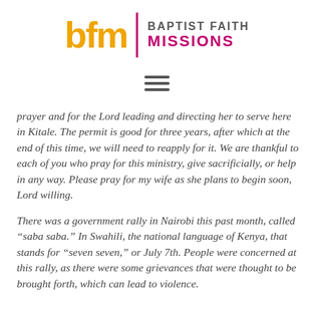[Figure (logo): Baptist Faith Missions logo with 'bfm' in gold/orange bold letters, vertical magenta divider line, and 'BAPTIST FAITH MISSIONS' text in grey and magenta]
[Figure (other): Hamburger menu icon (three horizontal bars)]
prayer and for the Lord leading and directing her to serve here in Kitale. The permit is good for three years, after which at the end of this time, we will need to reapply for it. We are thankful to each of you who pray for this ministry, give sacrificially, or help in any way. Please pray for my wife as she plans to begin soon, Lord willing.
There was a government rally in Nairobi this past month, called “saba saba.” In Swahili, the national language of Kenya, that stands for “seven seven,” or July 7th. People were concerned at this rally, as there were some grievances that were thought to be brought forth, which can lead to violence.